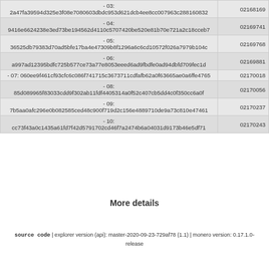| Hash / Label | ID |
| --- | --- |
| - 03: 2a47fa39594d325e3f08e7080603dbdc953d621dcb4ee8cc007963c288160832 | 02168169 |
| - 04: 9416e6624238e3ed73be194562d4110c5707420be520e81b70e721a2c18cceb7 | 02169741 |
| - 05: 36525db79383d70ad5bfe17ba4e47309b8f1296a6c6cd10572f026a7979b104c | 02169768 |
| - 06: a997ad12395bdfc725b577ce73a77e8053eeed6ad9fbdfe0ad94dbfd709fec1d | 02169881 |
| - 07: 060ee9f461cf93cfc6c086f741715c3673711cdfafb62a0f63665ae0a6ffe4765 | 02170018 |
| - 08: 85d089965f83033cdd9f302ab11fdf4405314a0f52c407cb5dd4c0f350cc6a0f | 02170056 |
| - 09: 7b5aa0afc296e0b082585ced48c900f719d2c156e4889710de9a73c810e47461 | 02170237 |
| - 10: cc73f43a0c1435a61fd7f42d5791702cd46f7a2474b6a04031d9173b46e5df71 | 02170243 |
More details
source code | explorer version (api): master-2020-09-23-729af78 (1.1) | monero version: 0.17.1.0-release